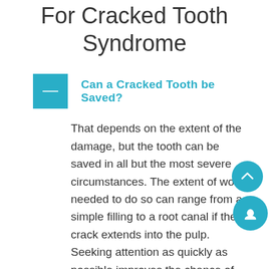For Cracked Tooth Syndrome
Can a Cracked Tooth be Saved?
That depends on the extent of the damage, but the tooth can be saved in all but the most severe circumstances. The extent of work needed to do so can range from a simple filling to a root canal if the crack extends into the pulp. Seeking attention as quickly as possible improves the chance of saving